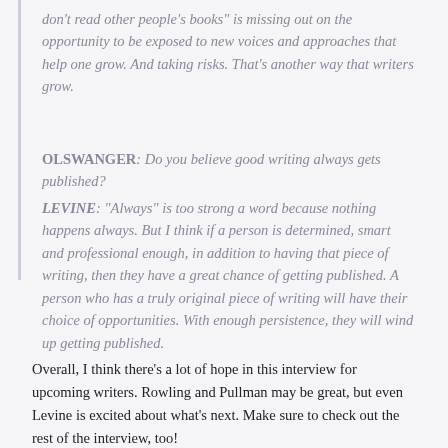don't read other people's books" is missing out on the opportunity to be exposed to new voices and approaches that help one grow. And taking risks. That's another way that writers grow.
OLSWANGER: Do you believe good writing always gets published?
LEVINE: "Always" is too strong a word because nothing happens always. But I think if a person is determined, smart and professional enough, in addition to having that piece of writing, then they have a great chance of getting published. A person who has a truly original piece of writing will have their choice of opportunities. With enough persistence, they will wind up getting published.
Overall, I think there's a lot of hope in this interview for upcoming writers. Rowling and Pullman may be great, but even Levine is excited about what's next. Make sure to check out the rest of the interview, too!